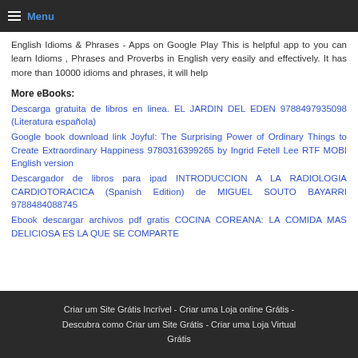Menu
English Idioms & Phrases - Apps on Google Play This is helpful app to you can learn Idioms , Phrases and Proverbs in English very easily and effectively. It has more than 10000 idioms and phrases, it will help
More eBooks:
Descarga gratuita de libros en linea. EL JARDIN DEL EDEN 9788497935098 (Literatura española)
Google book download link Joyful: The Surprising Power of Ordinary Things to Create Extraordinary Happiness 9780316399265 by Ingrid Fetell Lee RTF MOBI English version
Descargador de libros para ipad INTRODUCCION A LA RADIOLOGIA CARDIOTORACICA (Spanish Edition) de MIGUEL SOUTO BAYARRI 9788484088745
Ebook descargar archivos pdf gratis COCINA COREANA: LA COMIDA MAS DELICIOSA ES LA QUE SE COMPARTE
Criar um Site Grátis Incrível - Criar uma Loja online Grátis - Descubra como Criar um Site Grátis - Criar uma Loja Virtual Grátis